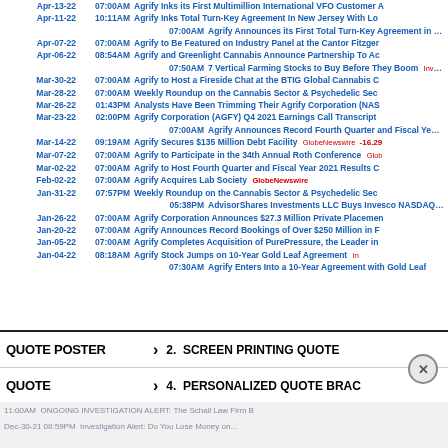Apr-13-22 07:00AM Agrify Inks its First Multimillion International VFO Customer A
Apr-11-22 10:11AM Agrify Inks Total Turn-Key Agreement In New Jersey With Lo
07:00AM Agrify Announces its First Total Turn-Key Agreement in New J
Apr-07-22 07:00AM Agrify to Be Featured on Industry Panel at the Cantor Fitzger
Apr-06-22 08:54AM Agrify and Greenlight Cannabis Announce Partnership To Ac
07:50AM 7 Vertical Farming Stocks to Buy Before They Boom InvestorP
Mar-30-22 07:00AM Agrify to Host a Fireside Chat at the BTIG Global Cannabis C
Mar-28-22 07:00AM Weekly Roundup on the Cannabis Sector & Psychedelic Sec
Mar-26-22 01:43PM Analysts Have Been Trimming Their Agrify Corporation (NAS
Mar-23-22 02:00PM Agrify Corporation (AGFY) Q4 2021 Earnings Call Transcript
07:00AM Agrify Announces Record Fourth Quarter and Fiscal Year 202
Mar-14-22 09:19AM Agrify Secures $135 Million Debt Facility GlobeNewswire -16.29
Mar-07-22 07:00AM Agrify to Participate in the 34th Annual Roth Conference Glob
Mar-02-22 07:00AM Agrify to Host Fourth Quarter and Fiscal Year 2021 Results C
Feb-02-22 07:00AM Agrify Acquires Lab Society GlobeNewswire
Jan-31-22 07:57PM Weekly Roundup on the Cannabis Sector & Psychedelic Sec
05:38PM AdvisorShares Investments LLC Buys Invesco NASDAQ 100
Jan-26-22 07:00AM Agrify Corporation Announces $27.3 Million Private Placemen
Jan-20-22 07:00AM Agrify Announces Record Bookings of Over $250 Million in F
Jan-05-22 07:00AM Agrify Completes Acquisition of PurePressure, the Leader in
Jan-04-22 08:18AM Agrify Stock Jumps on 10-Year Gold Leaf Agreement Inv
07:30AM Agrify Enters Into a 10-Year Agreement with Gold Leaf s
04:02AM What Kind Of Investors Own Most Of Agrify Corporation (NA
QUOTE POSTER  >  2. SCREEN PRINTING QUOTE
QUOTE  >  4. PERSONALIZED QUOTE BRAC
11:00AM ONGOING INVESTIGATION ALERT: The Schall Law Firm B
Dec-30-21 08:59PM Investigation Alert: Do You Lose Money on...